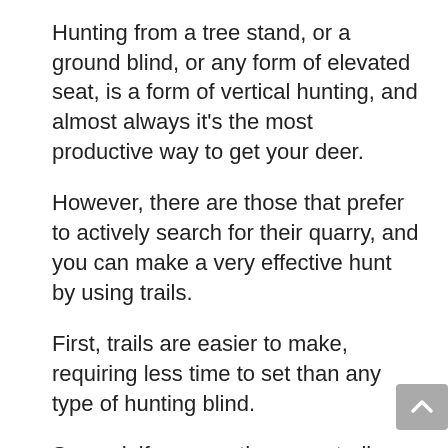Hunting from a tree stand, or a ground blind, or any form of elevated seat, is a form of vertical hunting, and almost always it’s the most productive way to get your deer.
However, there are those that prefer to actively search for their quarry, and you can make a very effective hunt by using trails.
First, trails are easier to make, requiring less time to set than any type of hunting blind.
Second, if you use the same trails you’ll be improving them as you walk.
Third, trails give you an excellent chance for a close, uninhibited view of your quarry,